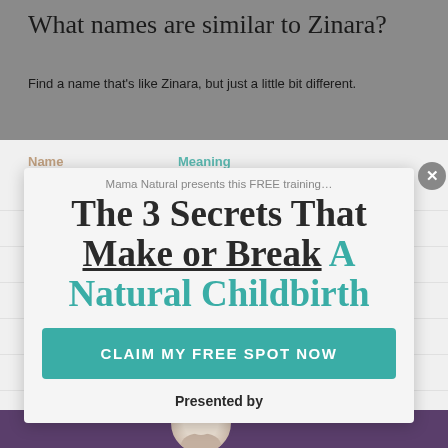What names are similar to Zinara?
Find a name that’s like Zinara, but just a little bit different.
| Name | Meaning |
| --- | --- |
| Chinara | God receives |
| Cleara |  |
| Cintra |  |
| Citara |  |
| Dinora | Justified |
| Genara | January |
| Ginara |  |
| Jenara | January |
[Figure (screenshot): Popup ad overlay from Mama Natural presenting a free training: 'The 3 Secrets That Make or Break A Natural Childbirth' with a teal 'CLAIM MY FREE SPOT NOW' button and 'Presented by' text below.]